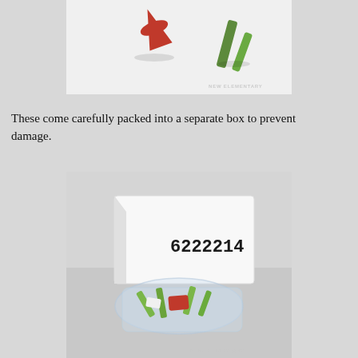[Figure (photo): Close-up photo of colorful cone-shaped LEGO elements (red and green) on a light background, with NEW ELEMENTARY watermark.]
These come carefully packed into a separate box to prevent damage.
[Figure (photo): Photo of a white box labeled 6222214 with a clear plastic tray containing small LEGO elements in red, green, and white, with NEW ELEMENTARY watermark.]